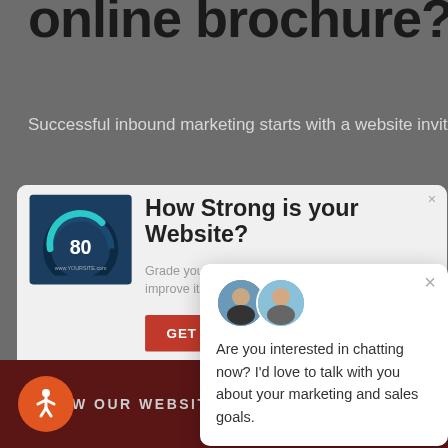online brochure?
Successful inbound marketing starts with a website inviting to
[Figure (screenshot): Modal popup card: 'How Strong is your Website?' with a speedometer graphic showing 80, subtitle 'Grade your website in seconds. Then learn how to improve it for free.' and a red GET button. Overlaid by a chat popup asking 'Are you interested in chatting now? I'd love to talk with you about your marketing and sales goals.']
you are converting leads at
VIEW OUR WEBSITE DESIGN PORTFOLIO